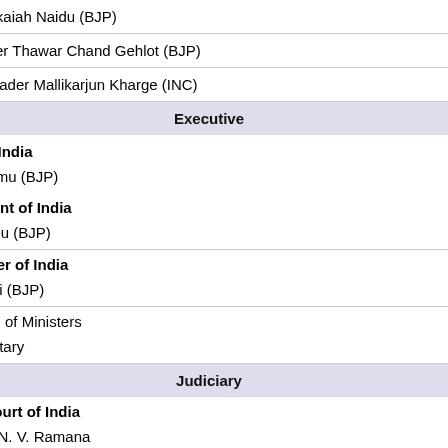Venkaiah Naidu (BJP)
Leader Thawar Chand Gehlot (BJP)
n Leader Mallikarjun Kharge (INC)
Executive
t of India
Murmu (BJP)
sident of India
Naidu (BJP)
nister of India
Modi (BJP)
uncil of Ministers
ecretary
Judiciary
e Court of India
tice N. V. Ramana
List)
ourts
unals